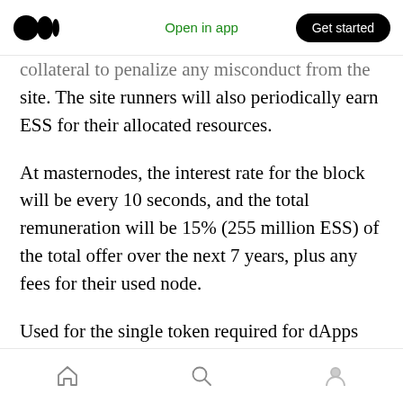Medium app header — Open in app | Get started
collateral to penalize any misconduct from the site. The site runners will also periodically earn ESS for their allocated resources.
At masternodes, the interest rate for the block will be every 10 seconds, and the total remuneration will be 15% (255 million ESS) of the total offer over the next 7 years, plus any fees for their used node.
Used for the single token required for dApps integrated on the Essentia platform. For example, instead of using 5 different tokens for 5 different
Bottom navigation: Home, Search, Profile